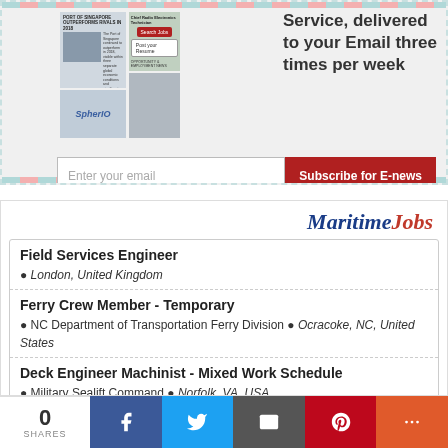[Figure (screenshot): Newsletter email subscription banner with article thumbnails and text 'Service, delivered to your Email three times per week']
Enter your email
Subscribe for E-news
[Figure (logo): MaritimeJobs logo in blue italic serif with red 'Jobs' text]
Field Services Engineer • London, United Kingdom
Ferry Crew Member - Temporary • NC Department of Transportation Ferry Division • Ocracoke, NC, United States
Deck Engineer Machinist - Mixed Work Schedule • Military Sealift Command • Norfolk, VA, USA
Rig Verifier • Faststream • London, Uk
[Figure (infographic): Social share bar with 0 SHARES count and Facebook, Twitter, Email, Pinterest, More buttons]